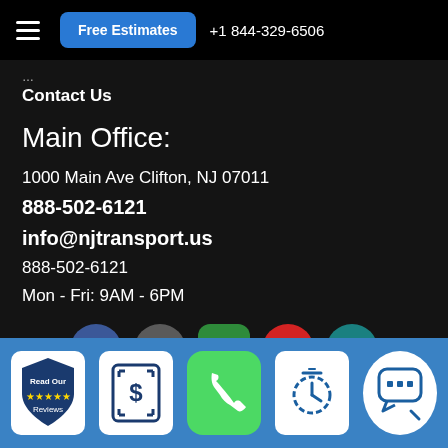Free Estimates  +1 844-329-6506
Contact Us
Main Office:
1000 Main Ave Clifton, NJ 07011
888-502-6121
info@njtransport.us
888-502-6121
Mon - Fri: 9AM - 6PM
[Figure (logo): Social media and review icons: Facebook, Google Maps, green directional icon, Yelp, A+ rating]
Read Our Reviews | S icon | Phone icon | Clock icon | Chat icon